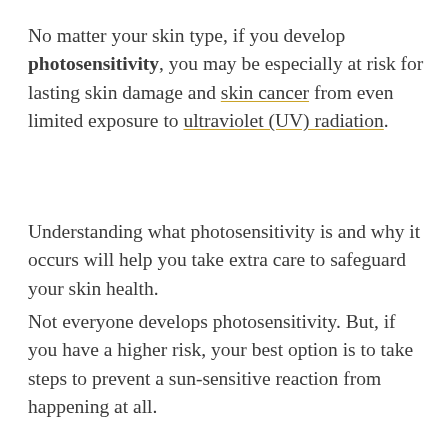No matter your skin type, if you develop photosensitivity, you may be especially at risk for lasting skin damage and skin cancer from even limited exposure to ultraviolet (UV) radiation.
Understanding what photosensitivity is and why it occurs will help you take extra care to safeguard your skin health.
Not everyone develops photosensitivity. But, if you have a higher risk, your best option is to take steps to prevent a sun-sensitive reaction from happening at all.